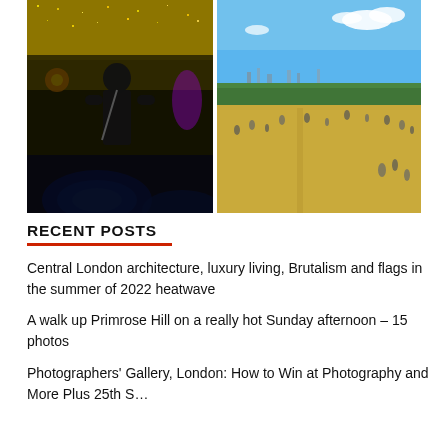[Figure (photo): Person standing with back to camera in a gallery or entertainment venue with golden/yellow illuminated walls and blue glowing objects in foreground]
[Figure (photo): Aerial view of Primrose Hill park on a sunny day with dry golden grass, people scattered across the hill, and London city skyline in the background under blue sky]
RECENT POSTS
Central London architecture, luxury living, Brutalism and flags in the summer of 2022 heatwave
A walk up Primrose Hill on a really hot Sunday afternoon – 15 photos
Photographers' Gallery, London: How to Win at Photography and More Plus 25th S…